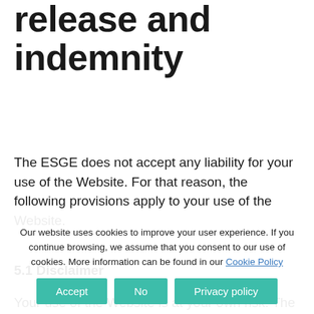release and indemnity
The ESGE does not accept any liability for your use of the Website. For that reason, the following provisions apply to your use of the Website.
5.1 Disclaimer
Your use of the Website is at your own risk. The Website is provided on an “as is” and “as available” basis, and without any representations, warranties or conditions of any kind, whether express or implied, including without limitation, representations, warranties or conditions of title, non-infringement, merchantability, fitness for a particular purpose, performance, durability,
Our website uses cookies to improve your user experience. If you continue browsing, we assume that you consent to our use of cookies. More information can be found in our Cookie Policy